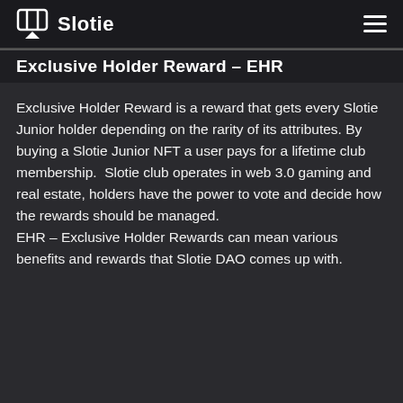Slotie
Exclusive Holder Reward – EHR
Exclusive Holder Reward is a reward that gets every Slotie Junior holder depending on the rarity of its attributes. By buying a Slotie Junior NFT a user pays for a lifetime club membership.  Slotie club operates in web 3.0 gaming and real estate, holders have the power to vote and decide how the rewards should be managed.
EHR – Exclusive Holder Rewards can mean various benefits and rewards that Slotie DAO comes up with.